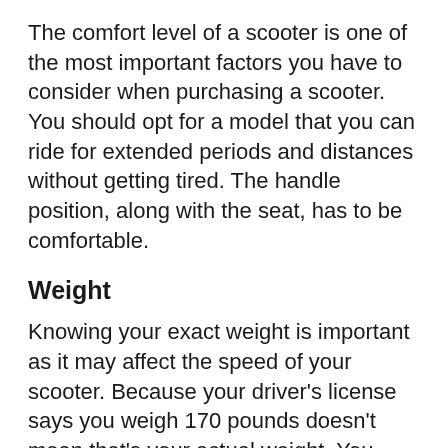The comfort level of a scooter is one of the most important factors you have to consider when purchasing a scooter. You should opt for a model that you can ride for extended periods and distances without getting tired. The handle position, along with the seat, has to be comfortable.
Weight
Knowing your exact weight is important as it may affect the speed of your scooter. Because your driver's license says you weigh 170 pounds doesn't mean that's your actual weight. You may have lied on your driver's license, but you will suffer the repercussions when your weight starts to affect your scooter.